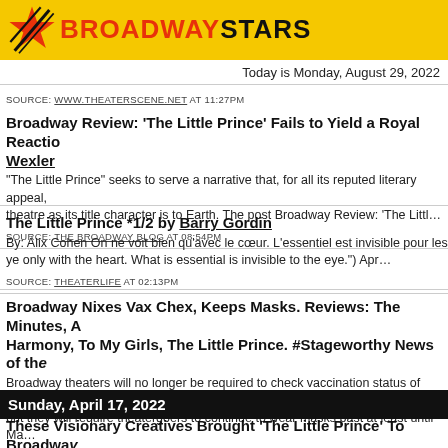BROADWAY STARS — Today is Monday, August 29, 2022
SOURCE: WWW.THEATERSCENE.NET AT 11:27PM
Broadway Review: 'The Little Prince' Fails to Yield a Royal Reaction by Wexler
"The Little Prince" seeks to serve a narrative that, for all its reputed literary appeal, theatre as its title character is to Earth. The post Broadway Review: 'The Littl…
SOURCE: THE BROADWAY BLOG AT 08:54PM
The Little Prince *1/2 by Barry Gordin
By: Alix Cohen On ne voit bien qu'avec le cœur. L'essentiel est invisible pour les ye only with the heart. What is essential is invisible to the eye.") Apr…
SOURCE: THEATERLIFE AT 02:13PM
Broadway Nixes Vax Chex, Keeps Masks. Reviews: The Minutes, A Harmony, To My Girls, The Little Prince. #Stageworthy News of the
Broadway theaters will no longer be required to check vaccination status of theatergoers but they will require theatergoers to continue to wear masks past at least until Ma…
SOURCE: NEW YORK THEATER AT 08:27AM
Sunday, April 17, 2022
These Visionary Creatives Brought 'The Little Prince' To Broadway
Anne Tournié and Chris Mouron share how their beloved childhood book became their latest collaboration.